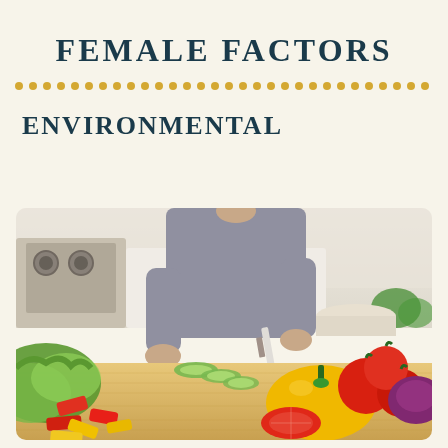FEMALE FACTORS
ENVIRONMENTAL
[Figure (photo): A person cutting cucumber on a wooden chopping board in a kitchen, surrounded by colorful vegetables including bell peppers, tomatoes, lettuce, and red onion.]